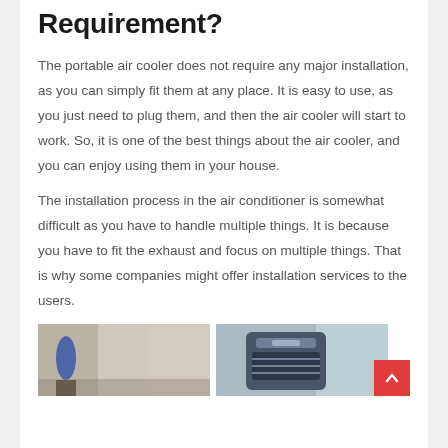Requirement?
The portable air cooler does not require any major installation, as you can simply fit them at any place. It is easy to use, as you just need to plug them, and then the air cooler will start to work. So, it is one of the best things about the air cooler, and you can enjoy using them in your house.
The installation process in the air conditioner is somewhat difficult as you have to handle multiple things. It is because you have to fit the exhaust and focus on multiple things. That is why some companies might offer installation services to the users.
[Figure (photo): Two photos side by side: left shows a bedroom/living room interior with curtains and a lamp; right shows a portable air cooler appliance (Sharp brand) near a window.]